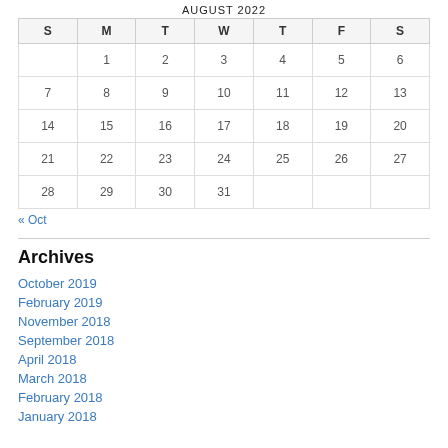| S | M | T | W | T | F | S |
| --- | --- | --- | --- | --- | --- | --- |
|  | 1 | 2 | 3 | 4 | 5 | 6 |
| 7 | 8 | 9 | 10 | 11 | 12 | 13 |
| 14 | 15 | 16 | 17 | 18 | 19 | 20 |
| 21 | 22 | 23 | 24 | 25 | 26 | 27 |
| 28 | 29 | 30 | 31 |  |  |  |
« Oct
Archives
October 2019
February 2019
November 2018
September 2018
April 2018
March 2018
February 2018
January 2018